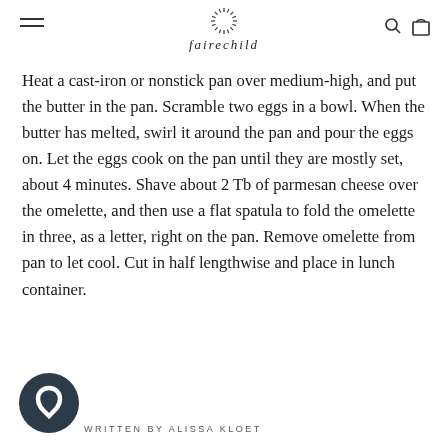fairechild
Heat a cast-iron or nonstick pan over medium-high, and put the butter in the pan. Scramble two eggs in a bowl. When the butter has melted, swirl it around the pan and pour the eggs on. Let the eggs cook on the pan until they are mostly set, about 4 minutes. Shave about 2 Tb of parmesan cheese over the omelette, and then use a flat spatula to fold the omelette in three, as a letter, right on the pan. Remove omelette from pan to let cool. Cut in half lengthwise and place in lunch container.
WRITTEN BY ALISSA KLOET